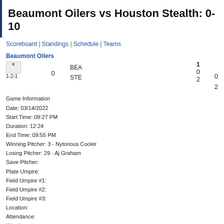Beaumont Oilers vs Houston Stealth: 0-10
Scoreboard | Standings | Schedule | Teams
Beaumont Oilers
|  |  | BEA/STE | 1 |  |  |
| --- | --- | --- | --- | --- | --- |
| [img] 1-2-1 | 0 | BEA | 0 |  | 0 |
|  |  | STE | 2 |  | 2 |
Game Information
Date: 03/14/2022
Start Time: 09:27 PM
Duration: 12:24
End Time: 09:55 PM
Winning Pitcher: 3 - Nytorious Cooler
Losing Pitcher: 29 - Aj Graham
Save Pitcher:
Plate Umpire:
Field Umpire #1:
Field Umpire #2:
Field Umpire #3:
Location:
Attendance:
Weather:
Comments:
Batting Stats
| # Batter |  | P |
| --- | --- | --- |